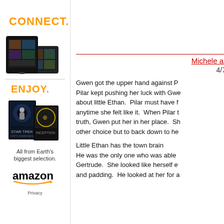[Figure (advertisement): Amazon Kindle advertisement with orange CONNECT. text and Kindle device image]
[Figure (advertisement): Amazon ENJOY. advertisement with movie cover images, 'All from Earth's biggest selection.' text, and Amazon logo]
Michele ar
4/7
Gwen got the upper hand against P... Pilar kept pushing her luck with Gwe... about little Ethan. Pilar must have f... anytime she felt like it. When Pilar t... truth, Gwen put her in her place. Sh... other choice but to back down to he...
Little Ethan has the town brain
He was the only one who was able...
Gertrude. She looked like herself e...
and padding. He looked at her for a...